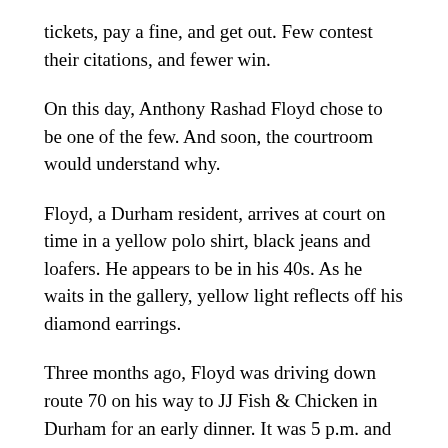tickets, pay a fine, and get out. Few contest their citations, and fewer win.
On this day, Anthony Rashad Floyd chose to be one of the few. And soon, the courtroom would understand why.
Floyd, a Durham resident, arrives at court on time in a yellow polo shirt, black jeans and loafers. He appears to be in his 40s. As he waits in the gallery, yellow light reflects off his diamond earrings.
Three months ago, Floyd was driving down route 70 on his way to JJ Fish & Chicken in Durham for an early dinner. It was 5 p.m. and there was heavy traffic. “Bumper to bumper,” he said.
On this much, Floyd and the deputy who cited him agree. Beyond that, their stories conflict.